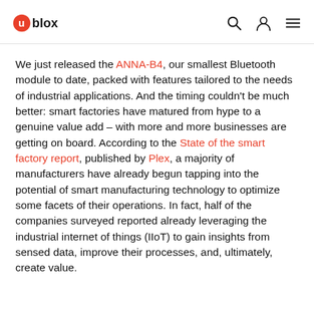u-blox logo with navigation icons
We just released the ANNA-B4, our smallest Bluetooth module to date, packed with features tailored to the needs of industrial applications. And the timing couldn't be much better: smart factories have matured from hype to a genuine value add – with more and more businesses are getting on board. According to the State of the smart factory report, published by Plex, a majority of manufacturers have already begun tapping into the potential of smart manufacturing technology to optimize some facets of their operations. In fact, half of the companies surveyed reported already leveraging the industrial internet of things (IIoT) to gain insights from sensed data, improve their processes, and, ultimately, create value.